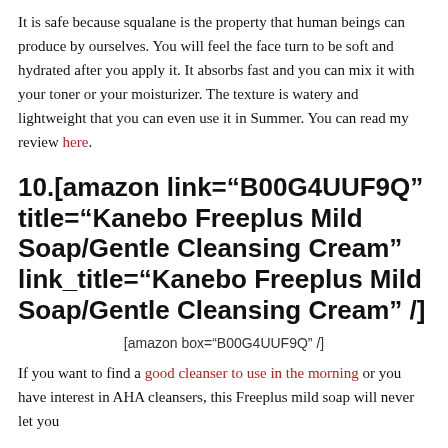It is safe because squalane is the property that human beings can produce by ourselves. You will feel the face turn to be soft and hydrated after you apply it. It absorbs fast and you can mix it with your toner or your moisturizer. The texture is watery and lightweight that you can even use it in Summer. You can read my review here.
10.[amazon link="B00G4UUF9Q" title="Kanebo Freeplus Mild Soap/Gentle Cleansing Cream" link_title="Kanebo Freeplus Mild Soap/Gentle Cleansing Cream" /]
[amazon box="B00G4UUF9Q" /]
If you want to find a good cleanser to use in the morning or you have interest in AHA cleansers, this Freeplus mild soap will never let you